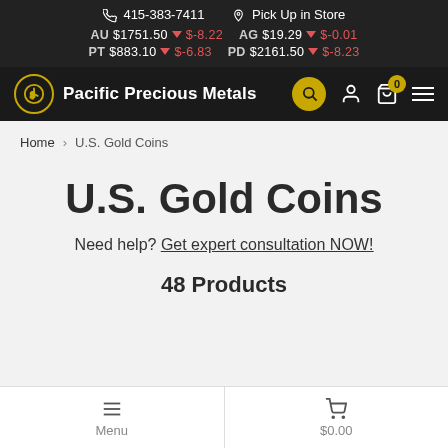415-383-7411 | Pick Up in Store | AU $1751.50 ▼ $-8.22 AG $19.29 ▼ $-0.01 | PT $883.10 ▼ $-6.83 PD $2161.50 ▼ $-8.23
Pacific Precious Metals
Home > U.S. Gold Coins
U.S. Gold Coins
Need help? Get expert consultation NOW!
48 Products
Menu | $0.00